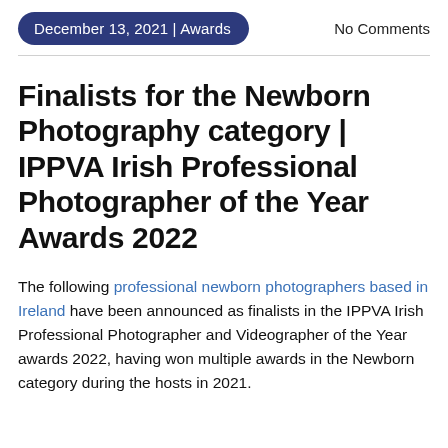December 13, 2021 | Awards    No Comments
Finalists for the Newborn Photography category | IPPVA Irish Professional Photographer of the Year Awards 2022
The following professional newborn photographers based in Ireland have been announced as finalists in the IPPVA Irish Professional Photographer and Videographer of the Year awards 2022, having won multiple awards in the Newborn category during the hosts in 2021.